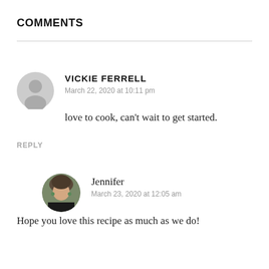COMMENTS
VICKIE FERRELL
March 22, 2020 at 10:11 pm

love to cook, can’t wait to get started.
REPLY
Jennifer
March 23, 2020 at 12:05 am

Hope you love this recipe as much as we do!